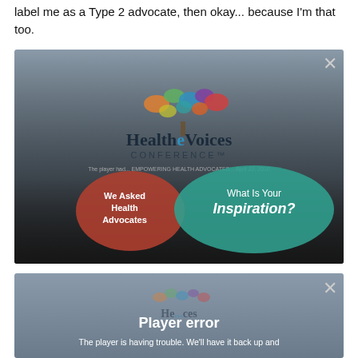label me as a Type 2 advocate, then okay... because I'm that too.
[Figure (screenshot): HealtheVoices Conference video player showing a conference slide with speech bubbles: 'We Asked Health Advocates' and 'What Is Your Inspiration?' with a colorful tree logo. A close (X) button is in the top right corner.]
[Figure (screenshot): Second video player showing a 'Player error' message: 'The player is having trouble. We'll have it back up and' with a partial HealtheVoices logo visible in the background. A close (X) button is in the top right corner.]